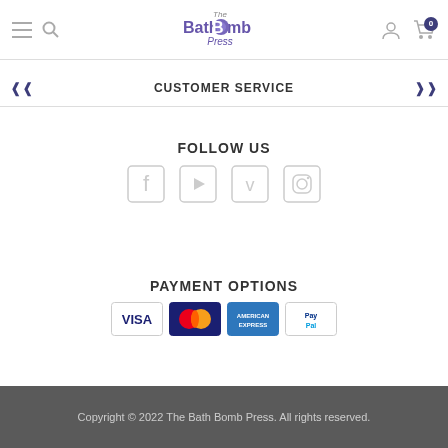The BathBomb Press — navigation header with menu, search, logo, account, cart
CUSTOMER SERVICE
FOLLOW US
[Figure (illustration): Social media icons: Facebook, YouTube, Vimeo, Instagram]
PAYMENT OPTIONS
[Figure (illustration): Payment method logos: Visa, Mastercard, American Express, PayPal]
Copyright © 2022 The Bath Bomb Press. All rights reserved.